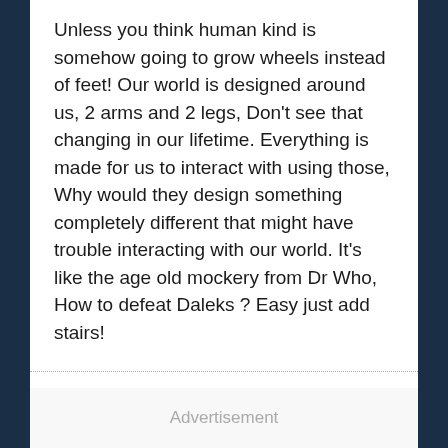Unless you think human kind is somehow going to grow wheels instead of feet! Our world is designed around us, 2 arms and 2 legs, Don't see that changing in our lifetime. Everything is made for us to interact with using those, Why would they design something completely different that might have trouble interacting with our world. It's like the age old mockery from Dr Who, How to defeat Daleks ? Easy just add stairs!
Advertisement